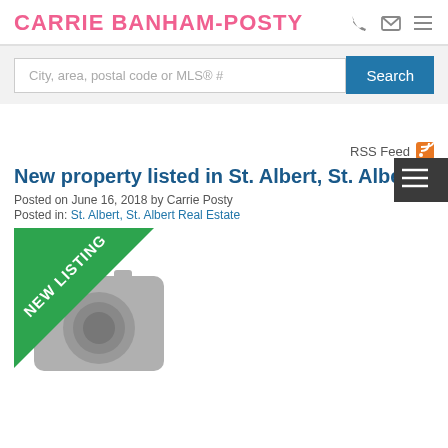CARRIE BANHAM-POSTY
City, area, postal code or MLS® #
Search
RSS Feed
New property listed in St. Albert, St. Albert
Posted on June 16, 2018 by Carrie Posty
Posted in: St. Albert, St. Albert Real Estate
[Figure (photo): Camera placeholder image with NEW LISTING diagonal green banner]